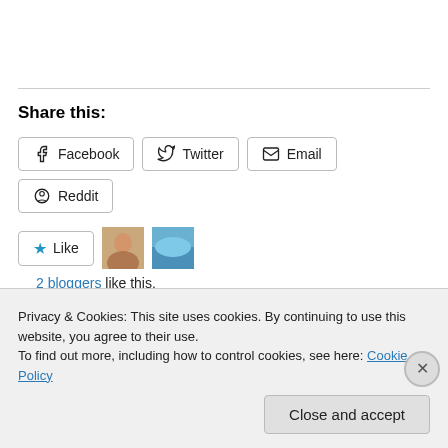Share this:
Facebook  Twitter  Email  Reddit
Like  2 bloggers like this.
Related
Privacy & Cookies: This site uses cookies. By continuing to use this website, you agree to their use.
To find out more, including how to control cookies, see here: Cookie Policy